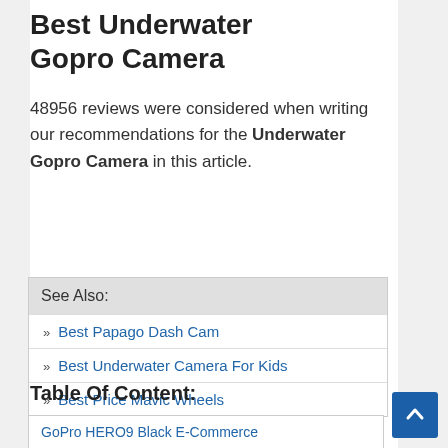Best Underwater Gopro Camera
48956 reviews were considered when writing our recommendations for the Underwater Gopro Camera in this article.
| See Also: |
| --- |
| » Best Papago Dash Cam |
| » Best Underwater Camera For Kids |
| » Best Price Mavic Wheels |
Table Of Content:
| GoPro HERO9 Black E-Commerce |
| GoPro HERO9 Black Waterproof |